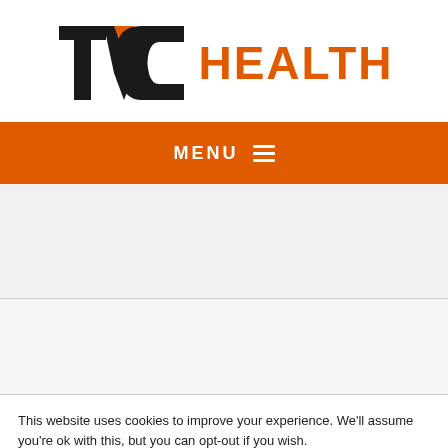[Figure (logo): TVC Health logo — stylized TVC letters in black with orange checkmark accent, followed by 'HEALTH' in orange bold text]
MENU ≡
This website uses cookies to improve your experience. We'll assume you're ok with this, but you can opt-out if you wish.
Accept All
Reject All
Read More